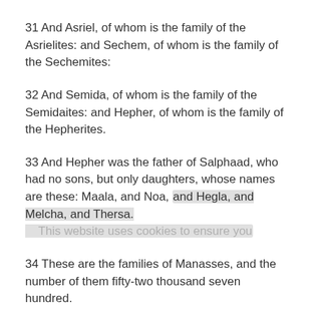31 And Asriel, of whom is the family of the Asrielites: and Sechem, of whom is the family of the Sechemites:
32 And Semida, of whom is the family of the Semidaites: and Hepher, of whom is the family of the Hepherites.
33 And Hepher was the father of Salphaad, who had no sons, but only daughters, whose names are these: Maala, and Noa, and Hegla, and Melcha, and Thersa.
34 These are the families of Manasses, and the number of them fifty-two thousand seven hundred.
35 And the sons of Ephraim by their kindreds were these: Suthala, of whom is the family of the Suthalaites: Becher, of whom is the family of the Becherites: Thehen, of whom is the